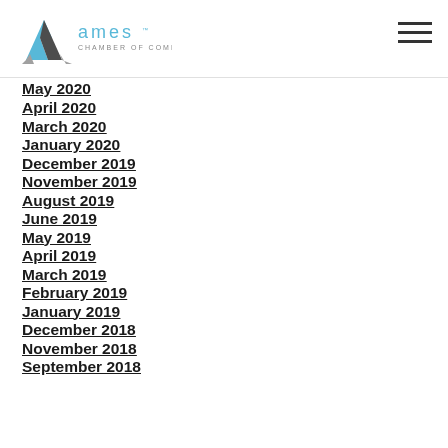Ames Chamber of Commerce
April 2020
March 2020
January 2020
December 2019
November 2019
August 2019
June 2019
May 2019
April 2019
March 2019
February 2019
January 2019
December 2018
November 2018
September 2018